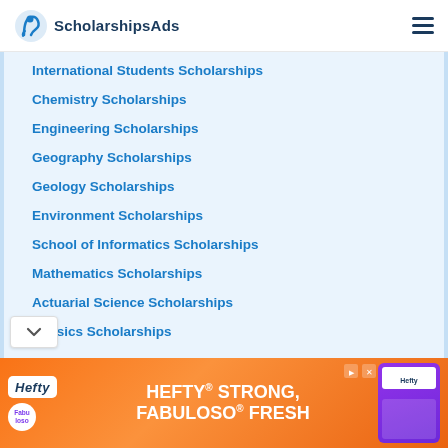ScholarshipsAds
International Students Scholarships
Chemistry Scholarships
Engineering Scholarships
Geography Scholarships
Geology Scholarships
Environment Scholarships
School of Informatics Scholarships
Mathematics Scholarships
Actuarial Science Scholarships
Physics Scholarships
[Figure (screenshot): Advertisement banner for Hefty products with text HEFTY STRONG, FABULOSO FRESH on orange background]